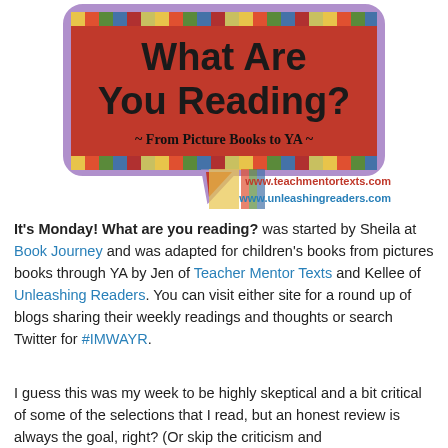[Figure (illustration): A red speech-bubble shaped graphic with the text 'What Are You Reading?' in large bold black font, subtitle '~ From Picture Books to YA ~', decorated with colorful striped borders, and URLs www.teachmentortexts.com and www.unleashingreaders.com shown below the bubble]
It's Monday! What are you reading? was started by Sheila at Book Journey and was adapted for children's books from pictures books through YA by Jen of Teacher Mentor Texts and Kellee of Unleashing Readers. You can visit either site for a round up of blogs sharing their weekly readings and thoughts or search Twitter for #IMWAYR.
I guess this was my week to be highly skeptical and a bit critical of some of the selections that I read, but an honest review is always the goal, right? (Or skip the criticism and